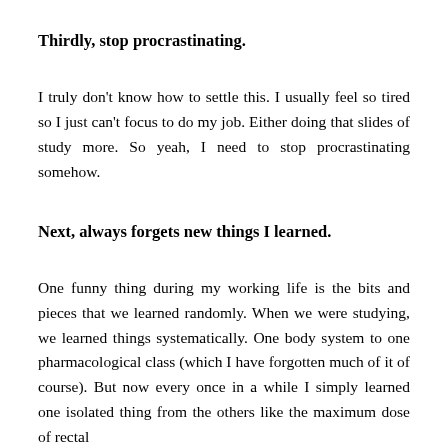Thirdly, stop procrastinating.
I truly don't know how to settle this. I usually feel so tired so I just can't focus to do my job. Either doing that slides of study more. So yeah, I need to stop procrastinating somehow.
Next, always forgets new things I learned.
One funny thing during my working life is the bits and pieces that we learned randomly. When we were studying, we learned things systematically. One body system to one pharmacological class (which I have forgotten much of it of course). But now every once in a while I simply learned one isolated thing from the others like the maximum dose of rectal